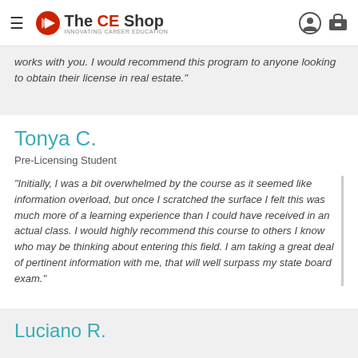The CE Shop
works with you. I would recommend this program to anyone looking to obtain their license in real estate."
Tonya C.
Pre-Licensing Student
"Initially, I was a bit overwhelmed by the course as it seemed like information overload, but once I scratched the surface I felt this was much more of a learning experience than I could have received in an actual class. I would highly recommend this course to others I know who may be thinking about entering this field. I am taking a great deal of pertinent information with me, that will well surpass my state board exam."
Luciano R.